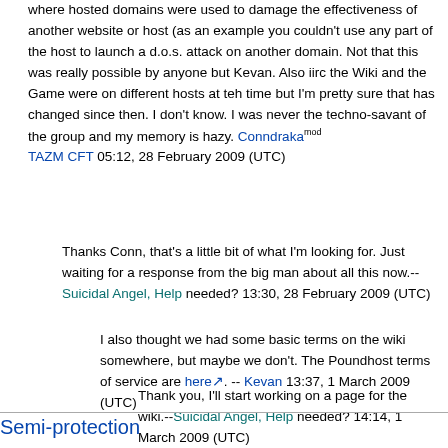where hosted domains were used to damage the effectiveness of another website or host (as an example you couldn't use any part of the host to launch a d.o.s. attack on another domain. Not that this was really possible by anyone but Kevan. Also iirc the Wiki and the Game were on different hosts at teh time but I'm pretty sure that has changed since then. I don't know. I was never the techno-savant of the group and my memory is hazy. Conndraka mod TAZM CFT 05:12, 28 February 2009 (UTC)
Thanks Conn, that's a little bit of what I'm looking for. Just waiting for a response from the big man about all this now.--Suicidal Angel, Help needed? 13:30, 28 February 2009 (UTC)
I also thought we had some basic terms on the wiki somewhere, but maybe we don't. The Poundhost terms of service are here. -- Kevan 13:37, 1 March 2009 (UTC)
Thank you, I'll start working on a page for the wiki.--Suicidal Angel, Help needed? 14:14, 1 March 2009 (UTC)
Semi-protection